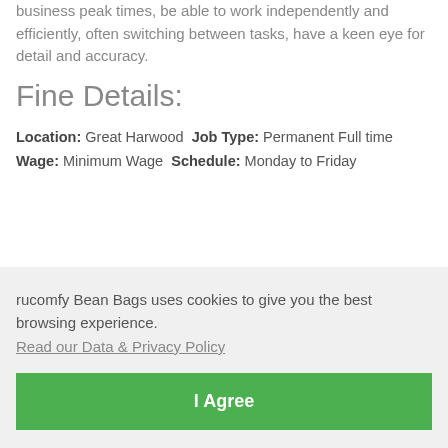business peak times, be able to work independently and efficiently, often switching between tasks, have a keen eye for detail and accuracy.
Fine Details:
Location: Great Harwood Job Type: Permanent Full time Wage: Minimum Wage Schedule: Monday to Friday
rucomfy Bean Bags uses cookies to give you the best browsing experience.
Read our Data & Privacy Policy
I Agree